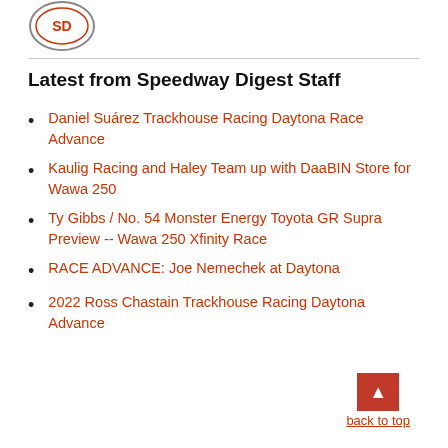[Figure (logo): Speedway Digest circular logo with 'SD' text in center]
Latest from Speedway Digest Staff
Daniel Suárez Trackhouse Racing Daytona Race Advance
Kaulig Racing and Haley Team up with DaaBIN Store for Wawa 250
Ty Gibbs / No. 54 Monster Energy Toyota GR Supra Preview -- Wawa 250 Xfinity Race
RACE ADVANCE: Joe Nemechek at Daytona
2022 Ross Chastain Trackhouse Racing Daytona Advance
back to top